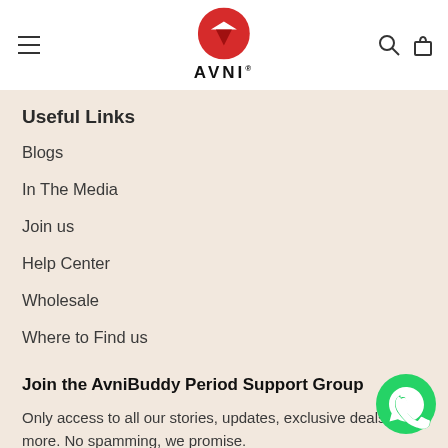AVNI
Useful Links
Blogs
In The Media
Join us
Help Center
Wholesale
Where to Find us
Join the AvniBuddy Period Support Group
Only access to all our stories, updates, exclusive deals and more. No spamming, we promise.
[Figure (logo): WhatsApp icon button (green circle with white phone handset)]